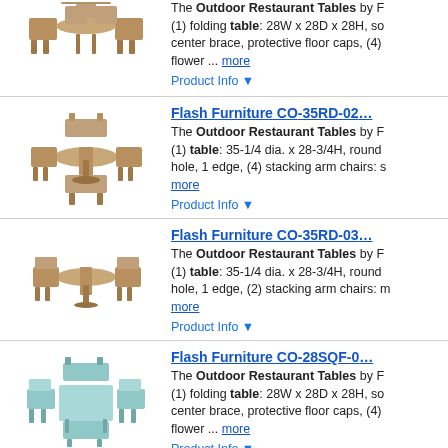[Figure (photo): Product image of outdoor restaurant table set (tan/brown metal), top of image cropped]
The Outdoor Restaurant Tables by F... (1) folding table: 28W x 28D x 28H, so center brace, protective floor caps, (4) flower ... more
Product Info ▼
Flash Furniture CO-35RD-02...
[Figure (photo): Product image of round outdoor restaurant table set with 4 chairs, tan/brown metal]
The Outdoor Restaurant Tables by F... (1) table: 35-1/4 dia. x 28-3/4H, round hole, 1 edge, (4) stacking arm chairs: s more
Product Info ▼
Flash Furniture CO-35RD-03...
[Figure (photo): Product image of round outdoor restaurant table set with 2 chairs, tan/brown metal]
The Outdoor Restaurant Tables by F... (1) table: 35-1/4 dia. x 28-3/4H, round hole, 1 edge, (2) stacking arm chairs: m more
Product Info ▼
Flash Furniture CO-28SQF-0...
[Figure (photo): Product image of square outdoor restaurant table set with 4 chairs, light blue/teal metal]
The Outdoor Restaurant Tables by F... (1) folding table: 28W x 28D x 28H, so center brace, protective floor caps, (4) flower ... more
Product Info ▼
Flash Furniture CO-28SQF-0...
[Figure (photo): Partial product image at bottom of page, cropped]
The Outdoor Restaurant Tables by F...